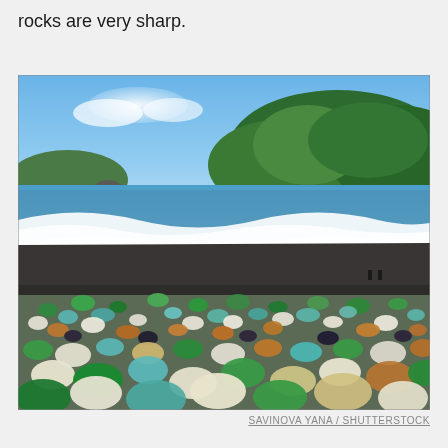rocks are very sharp.
[Figure (photo): A beach covered with colorful sea glass and smooth rocks in the foreground, with ocean waves breaking on a dark sand beach in the middle ground, and green tree-covered hills under a blue sky in the background.]
SAVINOVA YANA / SHUTTERSTOCK